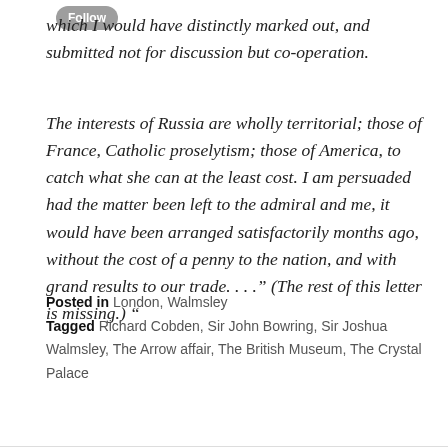which I would have distinctly marked out, and submitted not for discussion but co-operation.
The interests of Russia are wholly territorial; those of France, Catholic proselytism; those of America, to catch what she can at the least cost. I am persuaded had the matter been left to the admiral and me, it would have been arranged satisfactorily months ago, without the cost of a penny to the nation, and with grand results to our trade. . . ." (The rest of this letter is missing.) "
Posted in London, Walmsley
Tagged Richard Cobden, Sir John Bowring, Sir Joshua Walmsley, The Arrow affair, The British Museum, The Crystal Palace